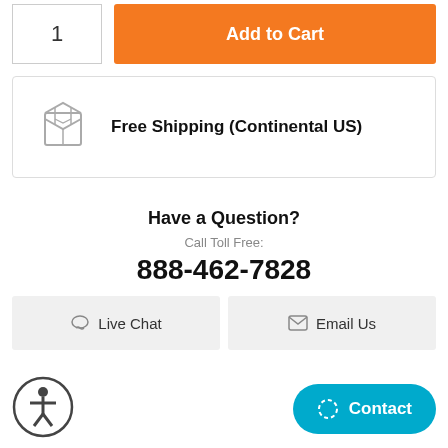1
Add to Cart
Free Shipping (Continental US)
Have a Question?
Call Toll Free:
888-462-7828
Live Chat
Email Us
Contact
Description